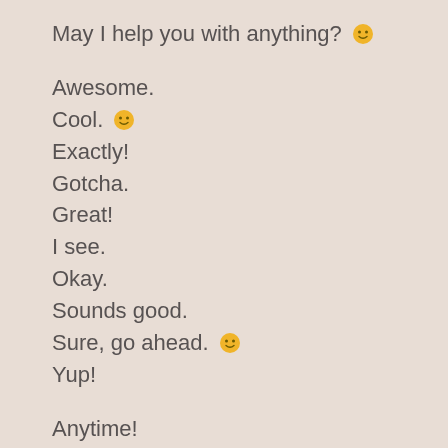May I help you with anything? 🙂
Awesome.
Cool. 🙂
Exactly!
Gotcha.
Great!
I see.
Okay.
Sounds good.
Sure, go ahead. 🙂
Yup!
Anytime!
I'm glad to help. 🙂
My pleasure!
No problem!
Thanks!
You bet!